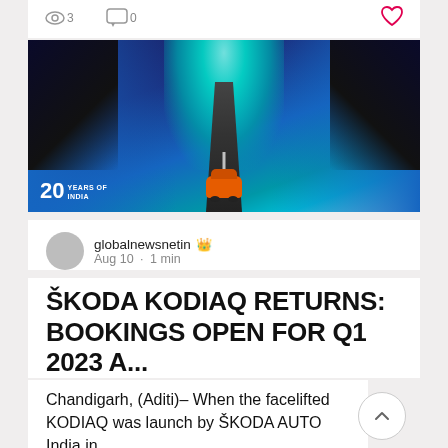[Figure (screenshot): Top bar with eye icon showing 3 views, comment icon showing 0, and heart/like icon in red]
[Figure (photo): Skoda Kodiaq orange SUV on a dramatic road with glowing teal waterfall/light effect in dark blue surroundings. Badge reads '20 YEARS OF INDIA' in lower left corner.]
globalnewsnetin 👑 Aug 10 · 1 min
ŠKODA KODIAQ RETURNS: BOOKINGS OPEN FOR Q1 2023 A...
Chandigarh, (Aditi)– When the facelifted KODIAQ was launch by ŠKODA AUTO India in...